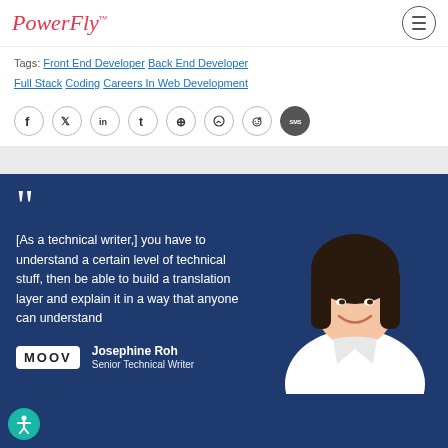PowerFly™
Tags: Front End Developer  Back End Developer  Full Stack  Coding  Careers In Web Development
[Figure (infographic): Social sharing icons row: Facebook, Twitter, LinkedIn, Tumblr, Pinterest, WhatsApp, Reddit, SMS]
[Figure (photo): Quote card with dark navy background. Large open quotation marks. Quote text: '[As a technical writer,] you have to understand a certain level of technical stuff, then be able to build a translation layer and explain it in a way that anyone can understand'. Attribution: Moov logo, Josephine Roh, Senior Technical Writer. Photo of smiling Asian woman on right side.]